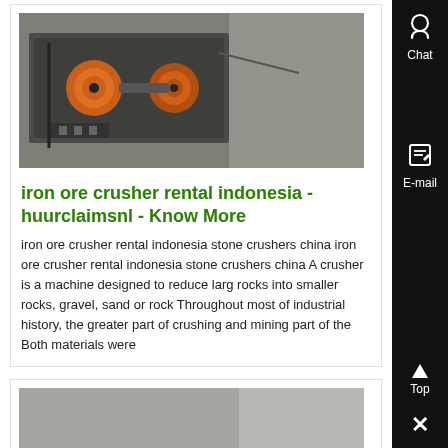[Figure (photo): Industrial crusher machine with orange/black mechanical parts visible, mounted on a grey frame]
iron ore crusher rental indonesia - huurclaimsnl - Know More
iron ore crusher rental indonesia stone crushers china iron ore crusher rental indonesia stone crushers china A crusher is a machine designed to reduce large rocks into smaller rocks, gravel, sand or rock Throughout most of industrial history, the greater part of crushing and mining part of the Both materials were
[Figure (photo): Industrial machine parts and components scattered on a warehouse floor, including cylindrical rollers and metal fittings]
iron ore supplier in indonesia - spoorzeukersnl - Know More
Iron Ore From Indonesia directory Iron Ore From Indonesia manufacturers